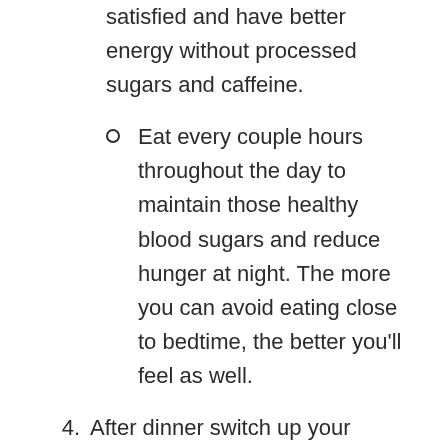satisfied and have better energy without processed sugars and caffeine.
Eat every couple hours throughout the day to maintain those healthy blood sugars and reduce hunger at night. The more you can avoid eating close to bedtime, the better you'll feel as well.
4. After dinner switch up your routine. Make a hot cup of tea with raw honey to help curb the craving